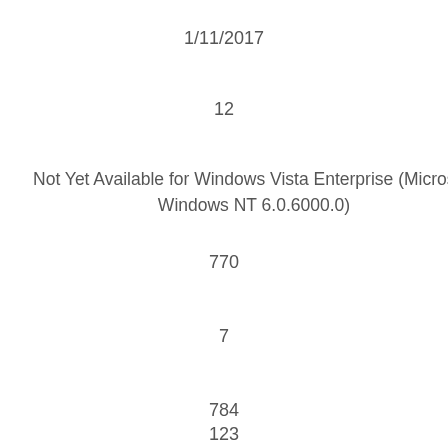1/11/2017
12
Not Yet Available for Windows Vista Enterprise (Microsoft Windows NT 6.0.6000.0)
770
7
784
123